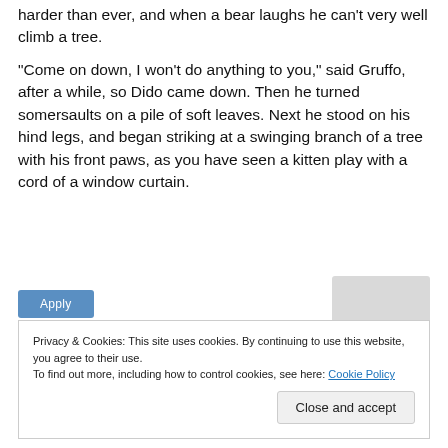harder than ever, and when a bear laughs he can't very well climb a tree.
“Come on down, I won’t do anything to you,” said Gruffo, after a while, so Dido came down. Then he turned somersaults on a pile of soft leaves. Next he stood on his hind legs, and began striking at a swinging branch of a tree with his front paws, as you have seen a kitten play with a cord of a window curtain.
[Figure (screenshot): Apply button (blue) and partial photo of a person on the right]
Privacy & Cookies: This site uses cookies. By continuing to use this website, you agree to their use.
To find out more, including how to control cookies, see here: Cookie Policy
Close and accept